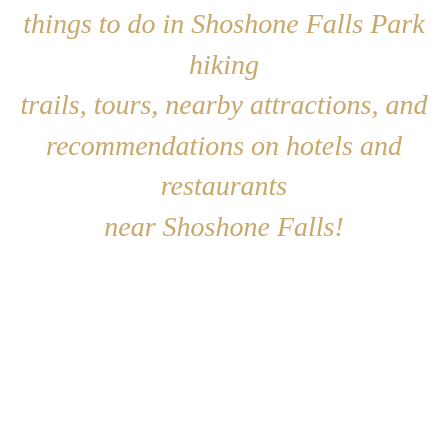things to do in Shoshone Falls Park hiking trails, tours, nearby attractions, and recommendations on hotels and restaurants near Shoshone Falls!